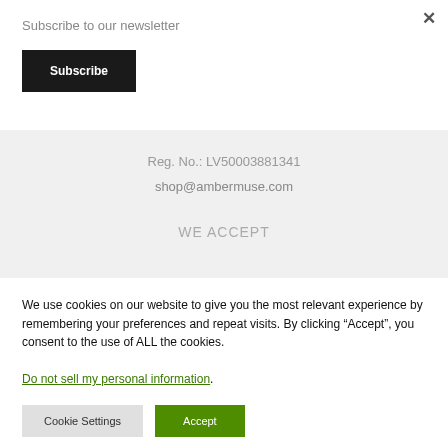Subscribe to our newsletter
Subscribe
×
Reg. No.: LV50003881341
shop@ambermuse.com
WE ACCEPT
We use cookies on our website to give you the most relevant experience by remembering your preferences and repeat visits. By clicking "Accept", you consent to the use of ALL the cookies.
Do not sell my personal information.
Cookie Settings
Accept